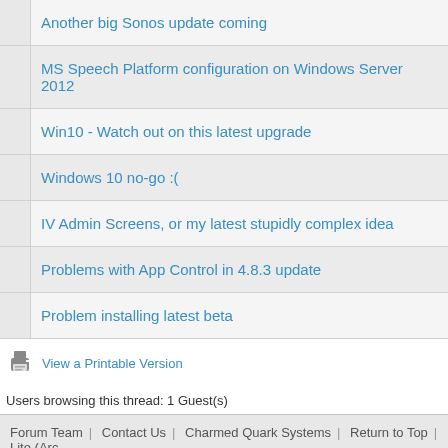Another big Sonos update coming
MS Speech Platform configuration on Windows Server 2012
Win10 - Watch out on this latest upgrade
Windows 10 no-go :(
IV Admin Screens, or my latest stupidly complex idea
Problems with App Control in 4.8.3 update
Problem installing latest beta
View a Printable Version
Users browsing this thread: 1 Guest(s)
Forum Team | Contact Us | Charmed Quark Systems | Return to Top | Lite (Arc...
Powered By MyBB 1.8.21, © 2002-2022 MyBB Group.